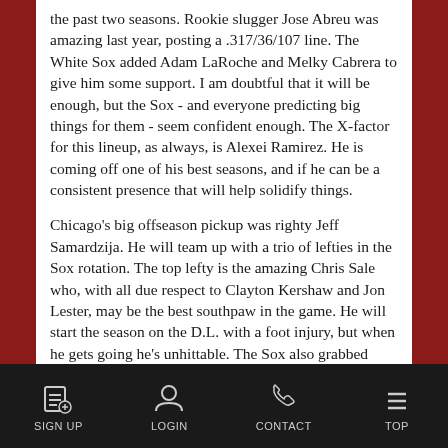the past two seasons. Rookie slugger Jose Abreu was amazing last year, posting a .317/36/107 line. The White Sox added Adam LaRoche and Melky Cabrera to give him some support. I am doubtful that it will be enough, but the Sox - and everyone predicting big things for them - seem confident enough. The X-factor for this lineup, as always, is Alexei Ramirez. He is coming off one of his best seasons, and if he can be a consistent presence that will help solidify things.
Chicago's big offseason pickup was righty Jeff Samardzija. He will team up with a trio of lefties in the Sox rotation. The top lefty is the amazing Chris Sale who, with all due respect to Clayton Kershaw and Jon Lester, may be the best southpaw in the game. He will start the season on the D.L. with a foot injury, but when he gets going he's unhittable. The Sox also grabbed closer Dave Robertson to support a horrendous bullpen. They added some lefty specialists - after going most of last season without
SIGN UP   LOGIN   CONTACT   TOP